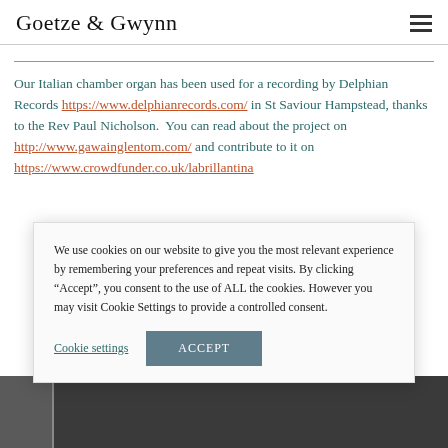Goetze & Gwynn
Our Italian chamber organ has been used for a recording by Delphian Records https://www.delphianrecords.com/ in St Saviour Hampstead, thanks to the Rev Paul Nicholson.  You can read about the project on http://www.gawainglentom.com/ and contribute to it on https://www.crowdfunder.co.uk/labrillantina
[Figure (photo): Partial view of a photo strip at the bottom of the page showing interior/exterior architectural images]
We use cookies on our website to give you the most relevant experience by remembering your preferences and repeat visits. By clicking “Accept”, you consent to the use of ALL the cookies. However you may visit Cookie Settings to provide a controlled consent.
Cookie settings  ACCEPT